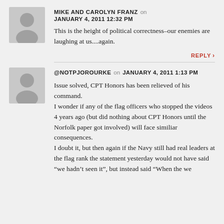[Figure (illustration): Grey avatar placeholder image for user Mike and Carolyn Franz]
MIKE AND CAROLYN FRANZ on JANUARY 4, 2011 12:32 PM
This is the height of political correctness–our enemies are laughing at us....again.
REPLY
[Figure (illustration): Grey avatar placeholder image for user @NOTPJOROURKE]
@NOTPJOROURKE on JANUARY 4, 2011 1:13 PM
Issue solved, CPT Honors has been relieved of his command.
I wonder if any of the flag officers who stopped the videos 4 years ago (but did nothing about CPT Honors until the Norfolk paper got involved) will face similiar consequences.
I doubt it, but then again if the Navy still had real leaders at the flag rank the statement yesterday would not have said "we hadn't seen it", but instead said "When the we